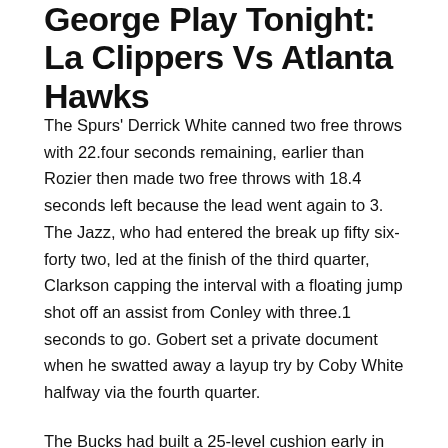George Play Tonight: La Clippers Vs Atlanta Hawks
The Spurs' Derrick White canned two free throws with 22.four seconds remaining, earlier than Rozier then made two free throws with 18.4 seconds left because the lead went again to 3. The Jazz, who had entered the break up fifty six-forty two, led at the finish of the third quarter, Clarkson capping the interval with a floating jump shot off an assist from Conley with three.1 seconds to go. Gobert set a private document when he swatted away a layup try by Coby White halfway via the fourth quarter.
The Bucks had built a 25-level cushion early in the second quarter and entered the break up 83-60, earlier than pulling away within the second half to see it out. Led by their second unit, the Clippers battled back